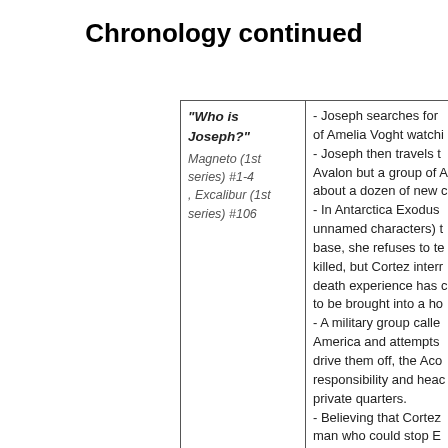Chronology continued
| Story | Events |
| --- | --- |
| "Who is Joseph?" Magneto (1st series) #1-4, Excalibur (1st series) #106 | - Joseph searches for... of Amelia Voght watchi... - Joseph then travels t... Avalon but a group of A... about a dozen of new c... - In Antarctica Exodus... unnamed characters) t... base, she refuses to te... killed, but Cortez inter... death experience has c... to be brought into a ho... - A military group calle... America and attempts... drive them off, the Aco... responsibility and heac... private quarters. - Believing that Cortez... man who could stop E... |